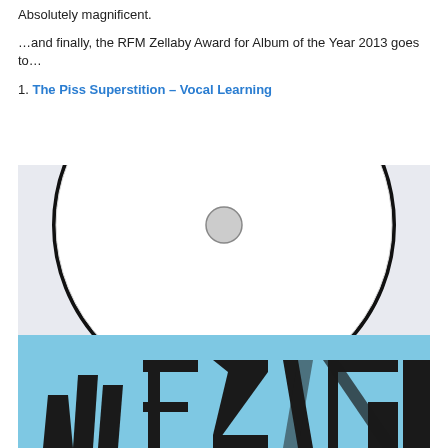Absolutely magnificent.
…and finally, the RFM Zellaby Award for Album of the Year 2013 goes to…
1. The Piss Superstition – Vocal Learning
[Figure (photo): CD partially inserted into a light blue album sleeve. The sleeve bottom shows partial stylized text reading 'THE PISS' in bold angular/geometric lettering on a light blue background.]